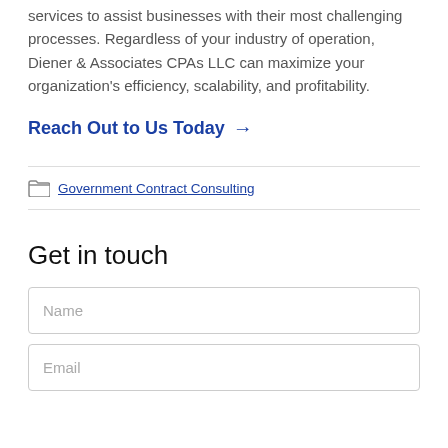services to assist businesses with their most challenging processes. Regardless of your industry of operation, Diener & Associates CPAs LLC can maximize your organization's efficiency, scalability, and profitability.
Reach Out to Us Today →
Government Contract Consulting
Get in touch
Name
Email